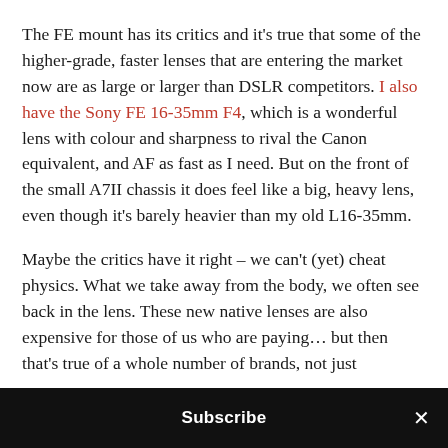The FE mount has its critics and it's true that some of the higher-grade, faster lenses that are entering the market now are as large or larger than DSLR competitors. I also have the Sony FE 16-35mm F4, which is a wonderful lens with colour and sharpness to rival the Canon equivalent, and AF as fast as I need. But on the front of the small A7II chassis it does feel like a big, heavy lens, even though it's barely heavier than my old L16-35mm.
Maybe the critics have it right – we can't (yet) cheat physics. What we take away from the body, we often see back in the lens. These new native lenses are also expensive for those of us who are paying… but then that's true of a whole number of brands, not just
Subscribe